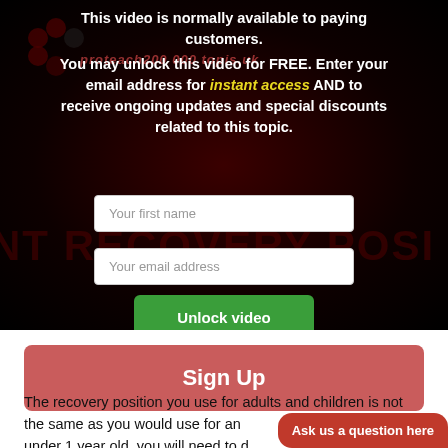This video is normally available to paying customers. You may unlock this video for FREE. Enter your email address for instant access AND to receive ongoing updates and special discounts related to this topic.
Your first name
Your email address
Unlock video
Sign Up
The recovery position you use for adults and children is not the same as you would use for an infant who is under 1 year old, you will need to d
Ask us a question here